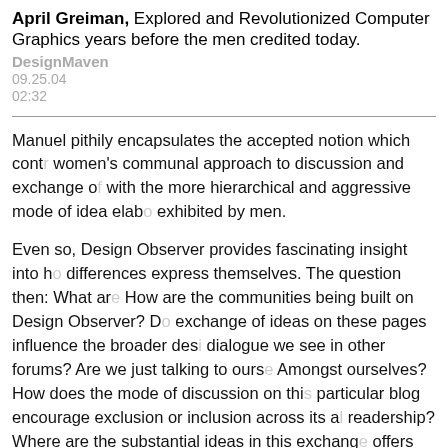April Greiman, Explored and Revolutionized Computer Graphics years before the men credited today.
DesignMaven
09.25.04
02:32
Manuel pithily encapsulates the accepted notion which contr... women's communal approach to discussion and exchange o... with the more hierarchical and aggressive mode of idea elab... exhibited by men.
Even so, Design Observer provides fascinating insight into h... differences express themselves. The question then: What are... How are the communities being built on Design Observer? D... exchange of ideas on these pages influence the broader des... dialogue we see in other forums? Are we just talking to ourse... Amongst ourselves? How does the mode of discussion on thi... particular blog encourage exclusion or inclusion across its a... readership? Where are the substantial ideas in this exchange... offers them? Does it matter?
Marion's tomboyish approach permits her to enter the di...